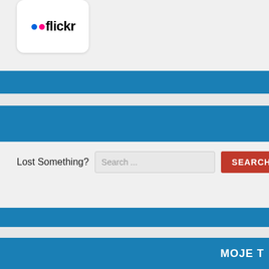[Figure (logo): Flickr logo with blue and pink dots and 'flickr' text on a white rounded rectangle]
Lost Something?
Search ...
SEARCH
MOJE T